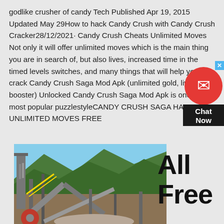godlike crusher of candy Tech Published Apr 19, 2015 Updated May 29How to hack Candy Crush with Candy Crush Cracker28/12/2021· Candy Crush Cheats Unlimited Moves Not only it will offer unlimited moves which is the main thing you are in search of, but also lives, increased time in the timed levels switches, and many things that will help you crack Candy Crush Saga Mod Apk (unlimited gold, lives, booster) Unlocked Candy Crush Saga Mod Apk is one of the most popular puzzlestyleCANDY CRUSH SAGA HACK APK UNLIMITED MOVES FREE
[Figure (screenshot): Chat Now widget with red circle icon and dark label]
[Figure (photo): Industrial crusher/mining facility with mountains and blue sky in background]
All Free